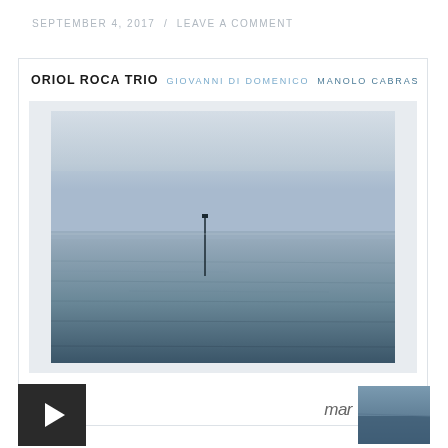SEPTEMBER 4, 2017  /  LEAVE A COMMENT
ORIOL ROCA TRIO  GIOVANNI DI DOMENICO  MANOLO CABRAS
[Figure (photo): Album cover photo: minimalist seascape with still water, cloudy sky, and a single vertical pole in the distance. White border frame around photo. Below is a media player bar with dark play button and a 'mar' logo.]